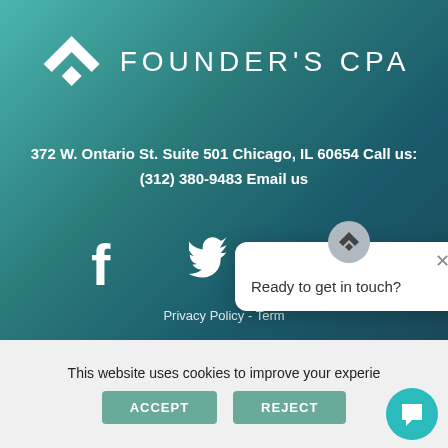[Figure (logo): Founder's CPA logo with white chevron/arrow icon and text FOUNDER'S CPA]
372 W. Ontario St. Suite 501 Chicago, IL 60654 Call us: (312) 380-9483 Email us
[Figure (infographic): Social media icons: Facebook, Twitter, LinkedIn in white]
Privacy Policy - Term
[Figure (screenshot): Chat popup with Founder's CPA icon and text 'Ready to get in touch?' with close button]
This website uses cookies to improve your experie
ACCEPT
REJECT